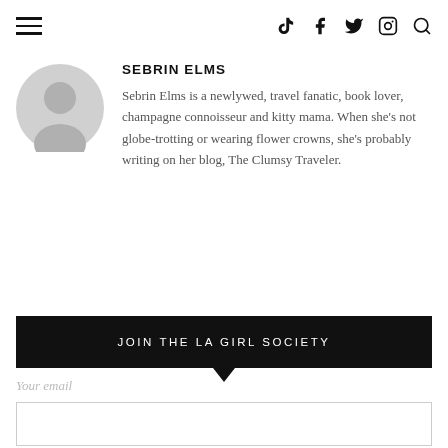Navigation header with hamburger menu and social icons (TikTok, Facebook, Twitter, Instagram, Search)
[Figure (illustration): Circular gray avatar/profile placeholder icon]
SEBRIN ELMS
Sebrin Elms is a newlywed, travel fanatic, book lover, champagne connoisseur and kitty mama. When she's not globe-trotting or wearing flower crowns, she's probably writing on her blog, The Clumsy Traveler.
JOIN THE LA GIRL SOCIETY
Your email